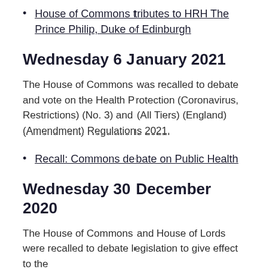House of Commons tributes to HRH The Prince Philip, Duke of Edinburgh
Wednesday 6 January 2021
The House of Commons was recalled to debate and vote on the Health Protection (Coronavirus, Restrictions) (No. 3) and (All Tiers) (England) (Amendment) Regulations 2021.
Recall: Commons debate on Public Health
Wednesday 30 December 2020
The House of Commons and House of Lords were recalled to debate legislation to give effect to the